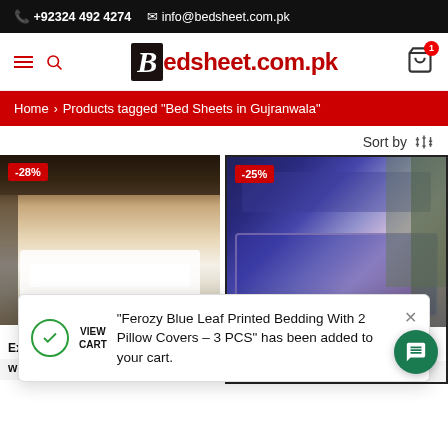+92324 492 4274  info@bedsheet.com.pk
[Figure (logo): Bedsheet.com.pk logo with hamburger menu, search icon, and shopping cart with badge count 1]
Home > Products tagged "Bed Sheets in Gujranwala"
Sort by
[Figure (photo): Left product: hotel-style white bed sheets, -28% discount badge. Product title area shows 'Exp... with 2 Pillow Covers']
[Figure (photo): Right product: blue leaf printed bedding set, -25% discount badge. Product title area shows 'Panel Printed']
“Ferozy Blue Leaf Printed Bedding With 2 Pillow Covers – 3 PCS” has been added to your cart.
VIEW CART